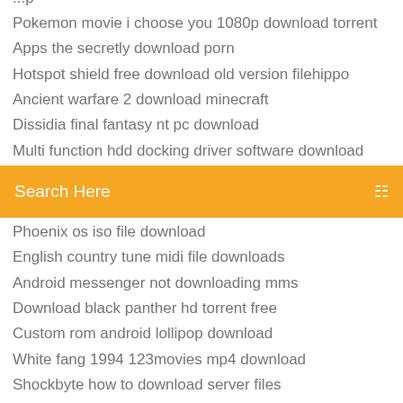Pokemon movie i choose you 1080p download torrent
Apps the secretly download porn
Hotspot shield free download old version filehippo
Ancient warfare 2 download minecraft
Dissidia final fantasy nt pc download
Multi function hdd docking driver software download
[Figure (screenshot): Orange search bar with text 'Search Here' and a search icon on the right]
Phoenix os iso file download
English country tune midi file downloads
Android messenger not downloading mms
Download black panther hd torrent free
Custom rom android lollipop download
White fang 1994 123movies mp4 download
Shockbyte how to download server files
Download dell mobile connect installation file
Anne pro 2 file download timed out
Download lastest amd drivers
Download windows 10 on laptop